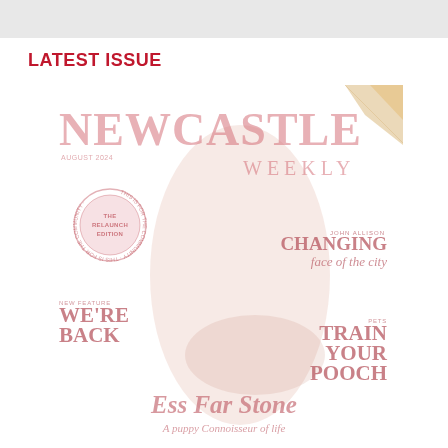LATEST ISSUE
[Figure (illustration): Faded/washed-out magazine cover of Newcastle Weekly (August 2024 relaunch edition). Features a woman in a yellow floral outfit with a large dog. Cover headlines include: CHANGING face of the city, WE'RE BACK, TRAIN YOUR POOCH, and bottom script text 'Ess Far Stone - A puppy Connoisseur of life'. A circular badge reads 'The Relaunch Edition'. Corner decoration of a kite/diamond shape in gold tones.]